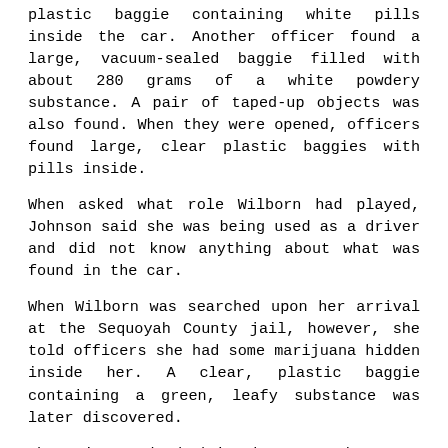plastic baggie containing white pills inside the car. Another officer found a large, vacuum-sealed baggie filled with about 280 grams of a white powdery substance. A pair of taped-up objects was also found. When they were opened, officers found large, clear plastic baggies with pills inside.
When asked what role Wilborn had played, Johnson said she was being used as a driver and did not know anything about what was found in the car.
When Wilborn was searched upon her arrival at the Sequoyah County jail, however, she told officers she had some marijuana hidden inside her. A clear, plastic baggie containing a green, leafy substance was later discovered.
The pair was booked in the Sequoyah County Jail.
The suspected drugs were sent to the Oklahoma State Bureau of Investigation for testing.
Records show that Johnson had been convicted of multiple drug crimes, one in Oklahoma in 2002. Wilborn had two